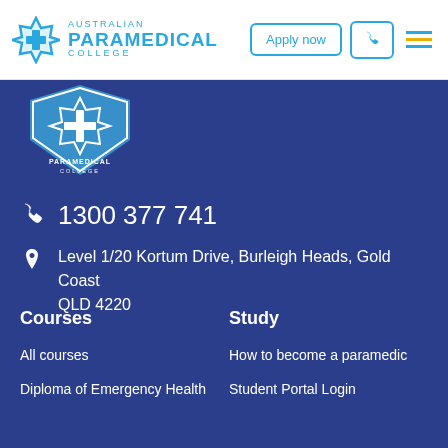[Figure (logo): Australian Paramedical College logo with star of life icon and text]
Apply now
Phone icon
[Figure (logo): Australian Paramedical College badge logo on blue background]
1300 377 741
Level 1/20 Kortum Drive, Burleigh Heads, Gold Coast QLD 4220
Courses
Study
All courses
How to become a paramedic
Diploma of Emergency Health
Student Portal Login